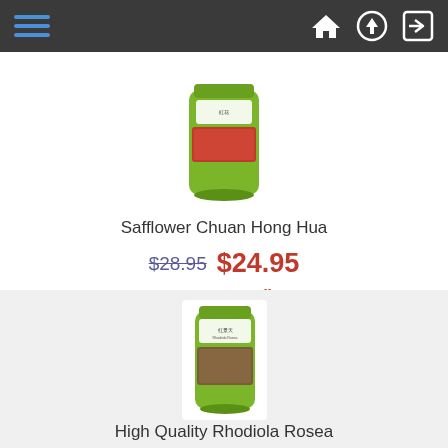[Figure (screenshot): Navigation bar with hamburger menu (three blue lines) on the left and home, upload, and login icons on the right, on dark gray background]
[Figure (photo): Green resealable pouch of Safflower Chuan Hong Hua with a red/orange window showing the product inside, white label on front]
Safflower Chuan Hong Hua
$28.95  $24.95
Save: 14% off
[Figure (photo): Green resealable pouch of High Quality Rhodiola Rosea with white label on front, showing dried plant material inside]
High Quality Rhodiola Rosea